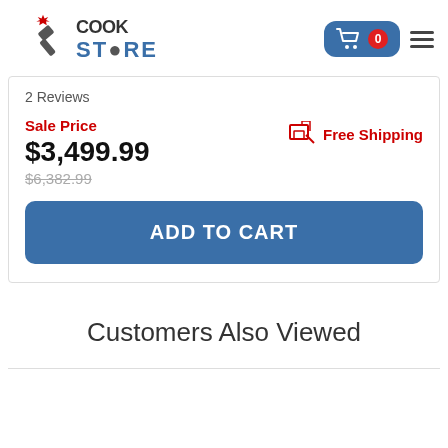[Figure (logo): CookStore logo with maple leaf and spatula icon]
2 Reviews
Sale Price
$3,499.99
$6,382.99
Free Shipping
ADD TO CART
Customers Also Viewed